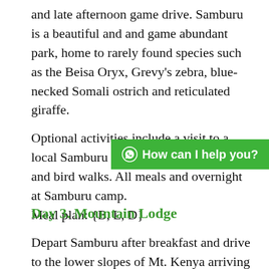and late afternoon game drive. Samburu is a beautiful and and game abundant park, home to rarely found species such as the Beisa Oryx, Grevy's zebra, blue-necked Somali ostrich and reticulated giraffe.
Optional activities include a visit to a local Samburu village, came... nature and bird walks. All meals and overnight at Samburu camp.
Meal plan: {B, L, D}
Day 3. Mountain Lodge
Depart Samburu after breakfast and drive to the lower slopes of Mt. Kenya arriving drive back to the lower slopes of Mount Kenya…